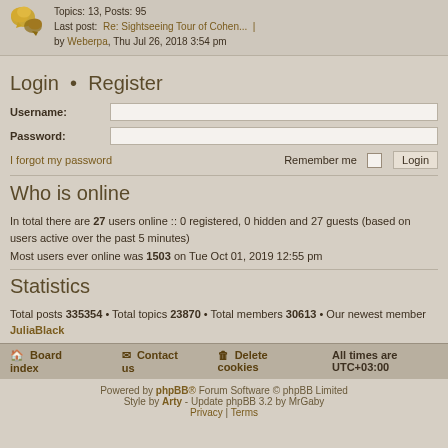Topics: 13, Posts: 95
Last post: Re: Sightseeing Tour of Cohen... | by Weberpa, Thu Jul 26, 2018 3:54 pm
Login • Register
Username: [input field]
Password: [input field]
I forgot my password   Remember me [checkbox] Login
Who is online
In total there are 27 users online :: 0 registered, 0 hidden and 27 guests (based on users active over the past 5 minutes)
Most users ever online was 1503 on Tue Oct 01, 2019 12:55 pm
Statistics
Total posts 335354 • Total topics 23870 • Total members 30613 • Our newest member JuliaBlack
Board index   Contact us   Delete cookies   All times are UTC+03:00
Powered by phpBB® Forum Software © phpBB Limited
Style by Arty - Update phpBB 3.2 by MrGaby
Privacy | Terms